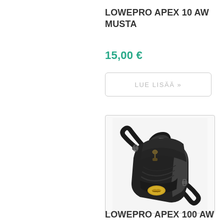LOWEPRO APEX 10 AW MUSTA
15,00 €
LUE LISÄÄ »
[Figure (photo): Black Lowepro Apex 10 AW camera bag with shoulder strap, zipper compartment, and Lowepro logo badge. Compact holster-style bag shown at an angle.]
LOWEPRO APEX 100 AW